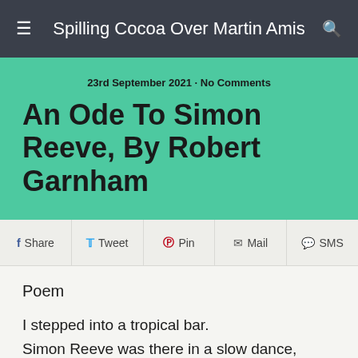Spilling Cocoa Over Martin Amis
23rd September 2021 · No Comments
An Ode To Simon Reeve, By Robert Garnham
Share | Tweet | Pin | Mail | SMS
Poem
I stepped into a tropical bar.
Simon Reeve was there in a slow dance,
And I lost myself to his floppy fringe
Whose sweat-soaked flappy fronds would
Tickle my blushing cheeks,